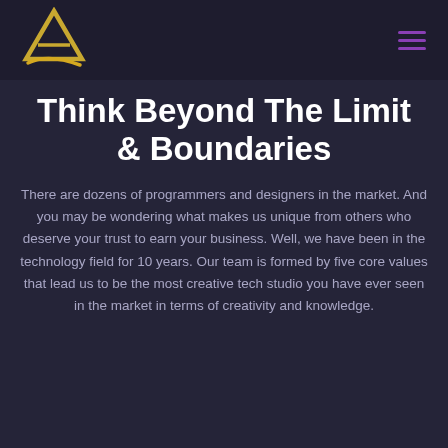[Figure (logo): Gold and yellow triangular logo with stylized letter A and curved swoosh beneath it]
Think Beyond The Limit & Boundaries
There are dozens of programmers and designers in the market. And you may be wondering what makes us unique from others who deserve your trust to earn your business. Well, we have been in the technology field for 10 years. Our team is formed by five core values that lead us to be the most creative tech studio you have ever seen in the market in terms of creativity and knowledge.